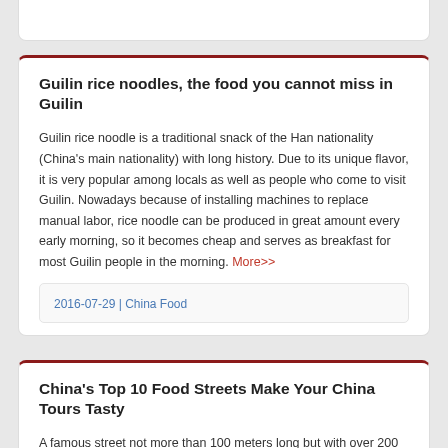Guilin rice noodles, the food you cannot miss in Guilin
Guilin rice noodle is a traditional snack of the Han nationality (China's main nationality) with long history. Due to its unique flavor, it is very popular among locals as well as people who come to visit Guilin. Nowadays because of installing machines to replace manual labor, rice noodle can be produced in great amount every early morning, so it becomes cheap and serves as breakfast for most Guilin people in the morning. More>>
2016-07-29 | China Food
China's Top 10 Food Streets Make Your China Tours Tasty
A famous street not more than 100 meters long but with over 200 cookshops and stalls, Zhongshan Road of Nanning is a genuine food paradise where you can find almost all China flavors that you may expected, from local snacksto famous dishes nationwide More>>